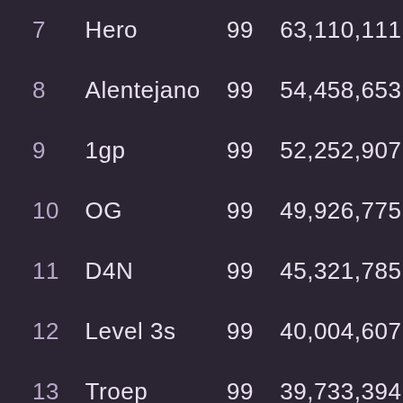| Rank | Name | Level | Score |
| --- | --- | --- | --- |
| 7 | Hero | 99 | 63,110,111 |
| 8 | Alentejano | 99 | 54,458,653 |
| 9 | 1gp | 99 | 52,252,907 |
| 10 | OG | 99 | 49,926,775 |
| 11 | D4N | 99 | 45,321,785 |
| 12 | Level 3s | 99 | 40,004,607 |
| 13 | Troep | 99 | 39,733,394 |
| 14 | Dell | 99 | 36,282,350 |